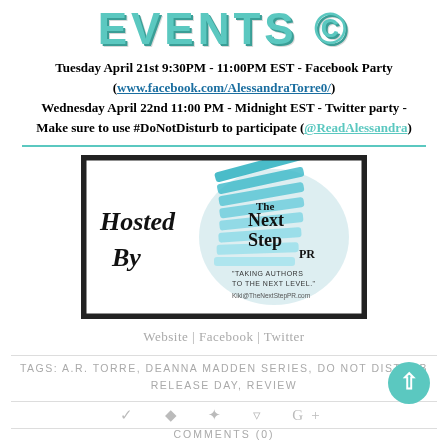EVENTS ©
Tuesday April 21st 9:30PM - 11:00PM EST - Facebook Party (www.facebook.com/AlessandraTorre0/)
Wednesday April 22nd 11:00 PM - Midnight EST - Twitter party - Make sure to use #DoNotDisturb to participate (@ReadAlessandra)
[Figure (illustration): Hosted By The Next Step PR banner image with teal book pages design and cursive text]
Website | Facebook | Twitter
TAGS: A.R. TORRE, DEANNA MADDEN SERIES, DO NOT DISTURB RELEASE DAY, REVIEW
COMMENTS (0)